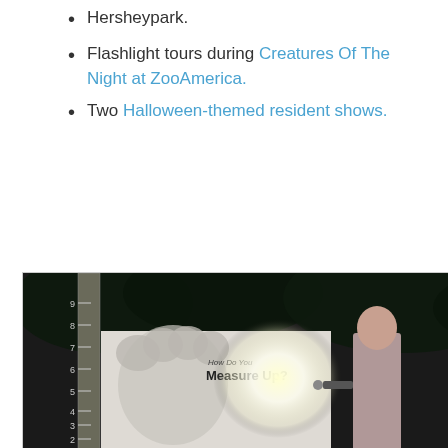Hersheypark.
Flashlight tours during Creatures Of The Night at ZooAmerica.
Two Halloween-themed resident shows.
[Figure (photo): A person holding a flashlight standing in front of a sign that reads 'How Do You Measure Up?' with a large ruler visible on the left side, photographed at night in an outdoor setting.]